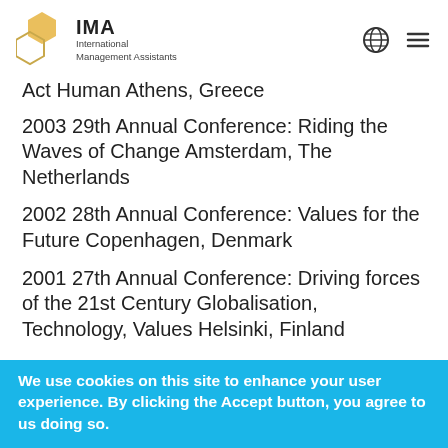IMA International Management Assistants
Act Human Athens, Greece
2003 29th Annual Conference: Riding the Waves of Change Amsterdam, The Netherlands
2002 28th Annual Conference: Values for the Future Copenhagen, Denmark
2001 27th Annual Conference: Driving forces of the 21st Century Globalisation, Technology, Values Helsinki, Finland
We use cookies on this site to enhance your user experience. By clicking the Accept button, you agree to us doing so.